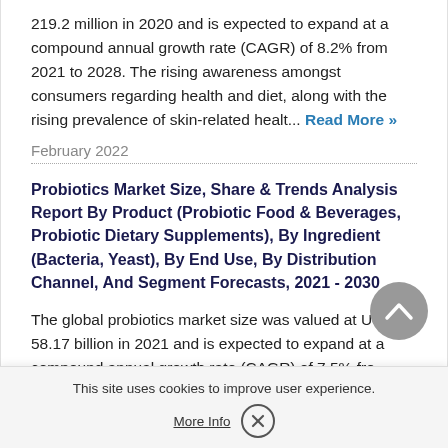219.2 million in 2020 and is expected to expand at a compound annual growth rate (CAGR) of 8.2% from 2021 to 2028. The rising awareness amongst consumers regarding health and diet, along with the rising prevalence of skin-related healt... Read More »
February 2022
Probiotics Market Size, Share & Trends Analysis Report By Product (Probiotic Food & Beverages, Probiotic Dietary Supplements), By Ingredient (Bacteria, Yeast), By End Use, By Distribution Channel, And Segment Forecasts, 2021 - 2030
The global probiotics market size was valued at USD 58.17 billion in 2021 and is expected to expand at a compound annual growth rate (CAGR) of 7.5% from 2021 to 2030. The market is driven by consumer inclination towards... in conjunction with the develo...
This site uses cookies to improve user experience.
More Info